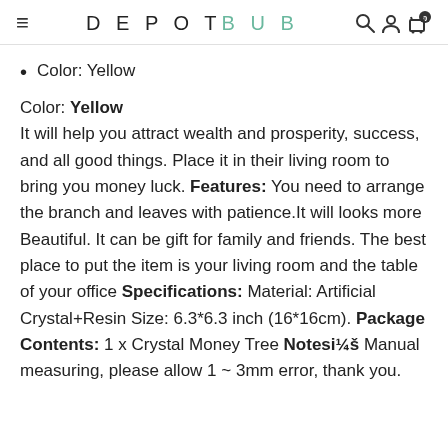DEPOTBUB
Color: Yellow
Color: **Yellow**
It will help you attract wealth and prosperity, success, and all good things. Place it in their living room to bring you money luck. **Features:** You need to arrange the branch and leaves with patience.It will looks more Beautiful. It can be gift for family and friends. The best place to put the item is your living room and the table of your office **Specifications:** Material: Artificial Crystal+Resin Size: 6.3*6.3 inch (16*16cm). **Package Contents:** 1 x Crystal Money Tree **Notesi¼š** Manual measuring, please allow 1 ~ 3mm error, thank you.